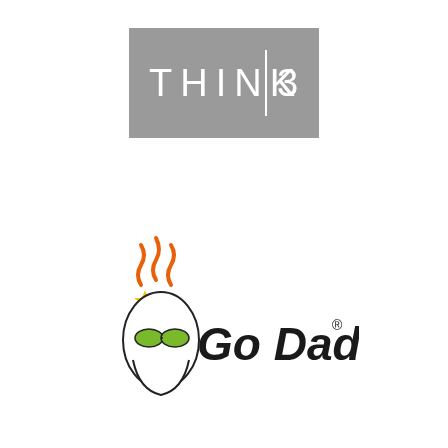[Figure (logo): Think3 logo: grey rectangle with white text THINK|3, vertical bar between THINK and 3]
[Figure (logo): GoDaddy logo: cartoon character head with orange steam lines, yellow star, green oval glasses, and GoDaddy text in black with registered trademark symbol]